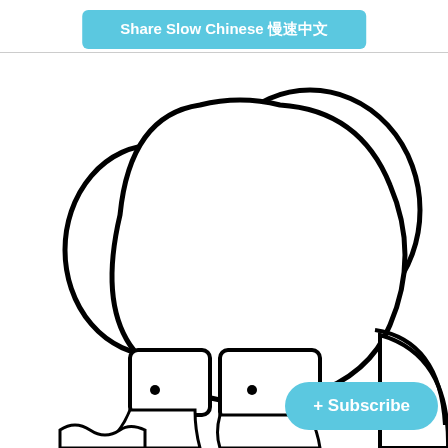Share Slow Chinese 慢速中文
[Figure (illustration): Cartoon drawing of a white rabbit character with red inner ears, shown from the front/top view with smaller rabbit figures below it]
+ Subscribe